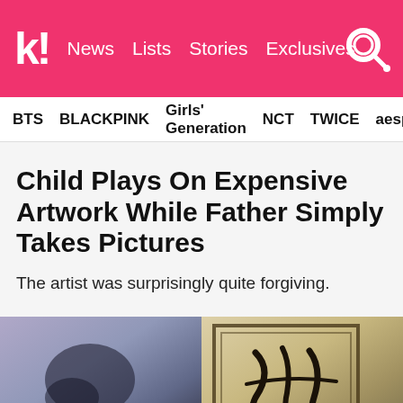k! News Lists Stories Exclusives
BTS  BLACKPINK  Girls' Generation  NCT  TWICE  aespa
Child Plays On Expensive Artwork While Father Simply Takes Pictures
The artist was surprisingly quite forgiving.
[Figure (photo): Two photos side by side: left photo shows a blurry close-up image of what appears to be a child's hand or face on an artwork surface; right photo shows a sepia-toned image of a framed artwork with dark calligraphy or markings.]